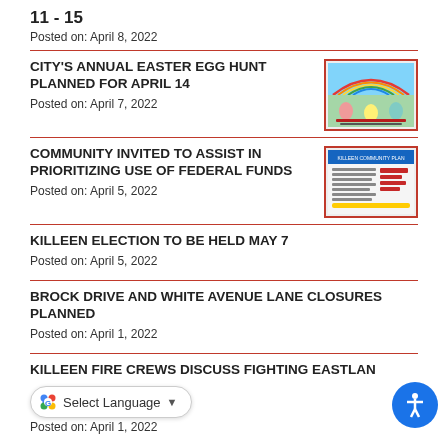11 - 15
Posted on: April 8, 2022
CITY'S ANNUAL EASTER EGG HUNT PLANNED FOR APRIL 14
Posted on: April 7, 2022
[Figure (illustration): Easter egg hunt flyer with rainbow and colorful eggs]
COMMUNITY INVITED TO ASSIST IN PRIORITIZING USE OF FEDERAL FUNDS
Posted on: April 5, 2022
[Figure (illustration): Community flyer with text about federal funds prioritization]
KILLEEN ELECTION TO BE HELD MAY 7
Posted on: April 5, 2022
BROCK DRIVE AND WHITE AVENUE LANE CLOSURES PLANNED
Posted on: April 1, 2022
KILLEEN FIRE CREWS DISCUSS FIGHTING EASTLAN
Posted on: April 1, 2022